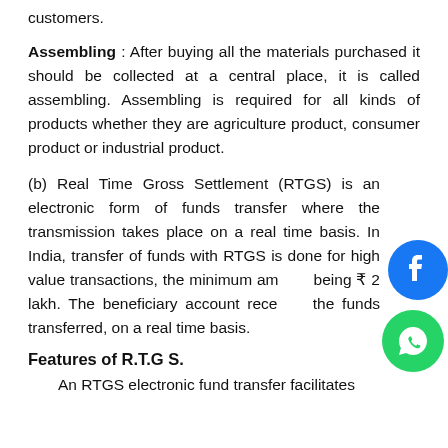customers.
Assembling : After buying all the materials purchased it should be collected at a central place, it is called assembling. Assembling is required for all kinds of products whether they are agriculture product, consumer product or industrial product.
(b) Real Time Gross Settlement (RTGS) is an electronic form of funds transfer where the transmission takes place on a real time basis. In India, transfer of funds with RTGS is done for high value transactions, the minimum amount being ₹ 2 lakh. The beneficiary account receives the funds transferred, on a real time basis.
Features of R.T.G S.
An RTGS electronic fund transfer facilitates...